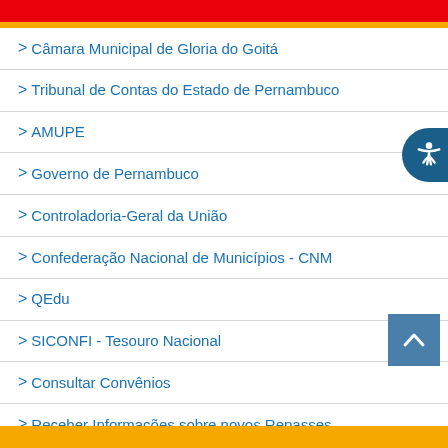> Câmara Municipal de Gloria do Goitá
> Tribunal de Contas do Estado de Pernambuco
> AMUPE
> Governo de Pernambuco
> Controladoria-Geral da União
> Confederação Nacional de Municípios - CNM
> QEdu
> SICONFI - Tesouro Nacional
> Consultar Convênios
> Receber Informações sobre novos Repasses